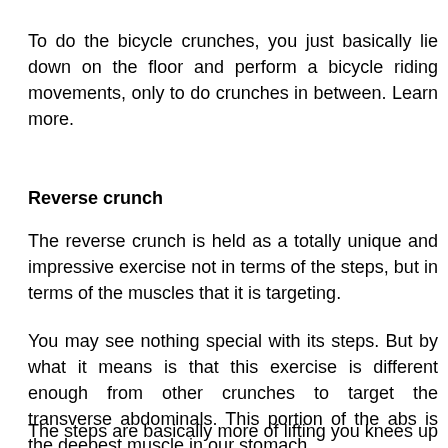To do the bicycle crunches, you just basically lie down on the floor and perform a bicycle riding movements, only to do crunches in between. Learn more.
Reverse crunch
The reverse crunch is held as a totally unique and impressive exercise not in terms of the steps, but in terms of the muscles that it is targeting.
You may see nothing special with its steps. But by what it means is that this exercise is different enough from other crunches to target the transverse abdominals. This portion of the abs is the deepest muscle in our stomach.
The steps are basically more of lifting you knees up tow...